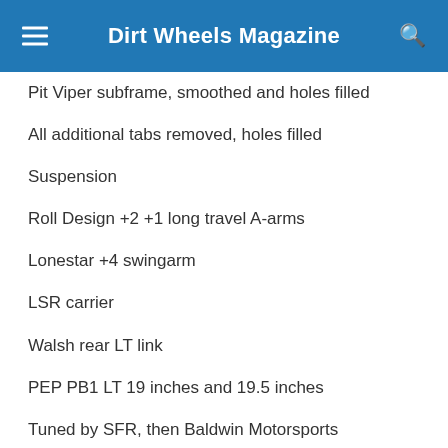Dirt Wheels Magazine
Pit Viper subframe, smoothed and holes filled
All additional tabs removed, holes filled
Suspension
Roll Design +2 +1 long travel A-arms
Lonestar +4 swingarm
LSR carrier
Walsh rear LT link
PEP PB1 LT 19 inches and 19.5 inches
Tuned by SFR, then Baldwin Motorsports
TM Designworks guide/slide/rollers
Engine (Banshee)